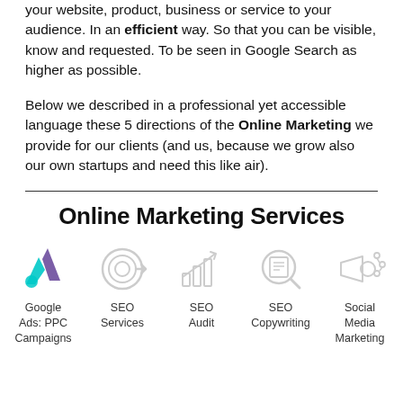your website, product, business or service to your audience. In an efficient way. So that you can be visible, know and requested. To be seen in Google Search as higher as possible.
Below we described in a professional yet accessible language these 5 directions of the Online Marketing we provide for our clients (and us, because we grow also our own startups and need this like air).
Online Marketing Services
[Figure (illustration): Five service icons in a row: Google Ads (colorful triangle/A logo), SEO Services (target with arrow), SEO Audit (chart with trend arrow), SEO Copywriting (magnifier with document), Social Media Marketing (megaphone with share icon). Below each icon is its label.]